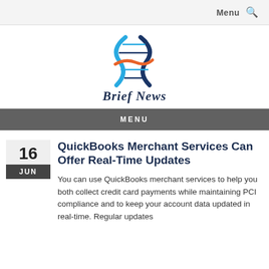Menu 🔍
[Figure (logo): Brief News logo: DNA double helix graphic in blue and orange above italic cursive text 'Brief News']
MENU
QuickBooks Merchant Services Can Offer Real-Time Updates
You can use QuickBooks merchant services to help you both collect credit card payments while maintaining PCI compliance and to keep your account data updated in real-time. Regular updates